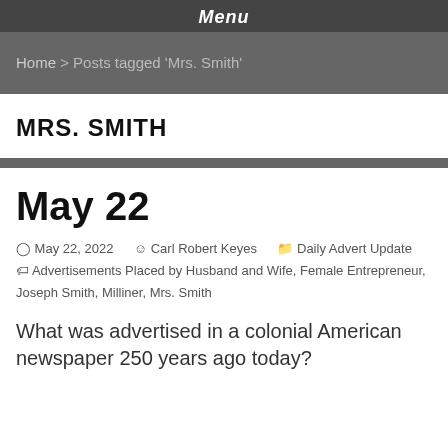Menu
Home > Posts tagged 'Mrs. Smith'
MRS. SMITH
May 22
May 22, 2022  Carl Robert Keyes  Daily Advert Update  Advertisements Placed by Husband and Wife, Female Entrepreneur, Joseph Smith, Milliner, Mrs. Smith
What was advertised in a colonial American newspaper 250 years ago today?